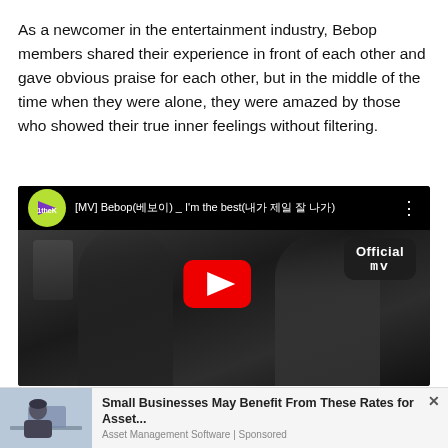As a newcomer in the entertainment industry, Bebop members shared their experience in front of each other and gave obvious praise for each other, but in the middle of the time when they were alone, they were amazed by those who showed their true inner feelings without filtering.
[Figure (screenshot): YouTube video thumbnail for [MV] Bebop(베보이) _ I'm the best(내가 제일 잘 나가) with Official MV badge, showing two young people looking surprised, with a red play button overlay, and 1theK logo.]
[Figure (infographic): Advertisement banner: 'Small Businesses May Benefit From These Rates for Asset...' from Asset Management Software | Sponsored, with a photo of a woman at a computer on the left and a close (x) button on the upper right.]